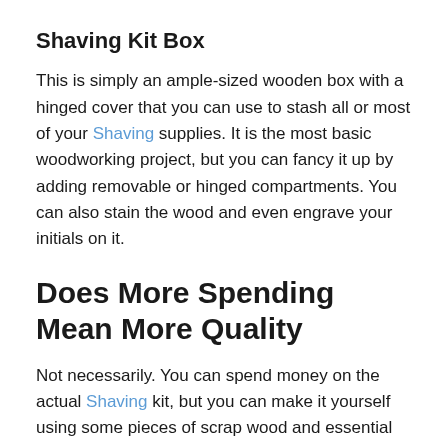Shaving Kit Box
This is simply an ample-sized wooden box with a hinged cover that you can use to stash all or most of your Shaving supplies. It is the most basic woodworking project, but you can fancy it up by adding removable or hinged compartments. You can also stain the wood and even engrave your initials on it.
Does More Spending Mean More Quality
Not necessarily. You can spend money on the actual Shaving kit, but you can make it yourself using some pieces of scrap wood and essential